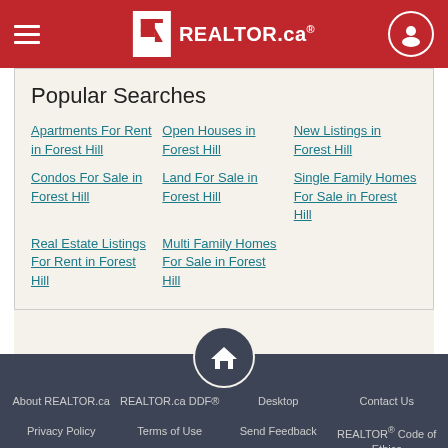REALTOR.ca
Popular Searches
Apartments For Rent in Forest Hill
Open Houses in Forest Hill
New Listings in Forest Hill
Condos For Sale in Forest Hill
Land For Sale in Forest Hill
Single Family Homes For Sale in Forest Hill
Real Estate Listings For Rent in Forest Hill
Multi Family Homes For Sale in Forest Hill
About REALTOR.ca | REALTOR.ca DDF® | Desktop | Contact Us | Privacy Policy | Terms of Use | Send Feedback | REALTOR® Code of Ethics | Download the REALTOR.ca app